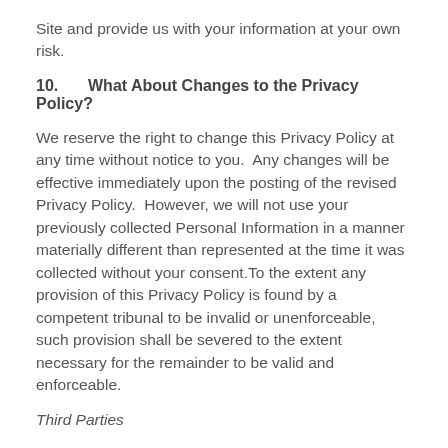Site and provide us with your information at your own risk.
10.      What About Changes to the Privacy Policy?
We reserve the right to change this Privacy Policy at any time without notice to you.  Any changes will be effective immediately upon the posting of the revised Privacy Policy.  However, we will not use your previously collected Personal Information in a manner materially different than represented at the time it was collected without your consent.To the extent any provision of this Privacy Policy is found by a competent tribunal to be invalid or unenforceable, such provision shall be severed to the extent necessary for the remainder to be valid and enforceable.
Third Parties
The following third parties that collect information